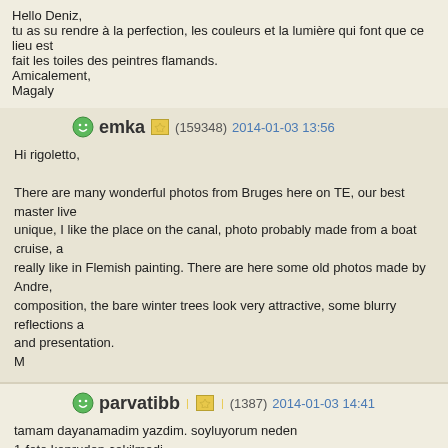Hello Deniz,
tu as su rendre à la perfection, les couleurs et la lumière qui font que ce lieu est fait les toiles des peintres flamands.
Amicalement,
Magaly
emka (159348) 2014-01-03 13:56
Hi rigoletto,

There are many wonderful photos from Bruges here on TE, our best master live unique, I like the place on the canal, photo probably made from a boat cruise, a really like in Flemish painting. There are here some old photos made by Andre, composition, the bare winter trees look very attractive, some blurry reflections a and presentation.
M
parvatibb (1387) 2014-01-03 14:41
tamam dayanamadim yazdim. soyluyorum neden
1-foto kopruden cekilmedi
2-baskasına benzetilmek bilemedim seni bozar gibi geldi:P
3-agaclar da LOTR entlerine benzemis. treebeard degil belki ama kucukleri olabileceği
+